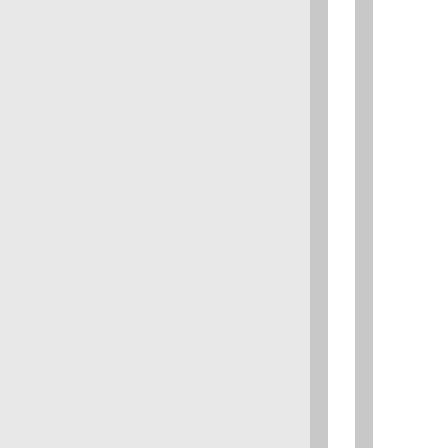ersion="ReaderServices/19.10.20064Chr